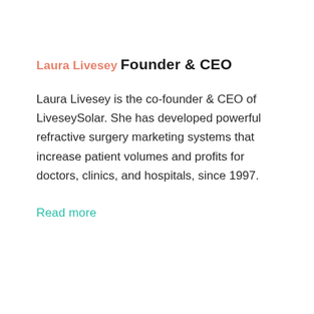Laura Livesey
Founder & CEO
Laura Livesey is the co-founder & CEO of LiveseySolar. She has developed powerful refractive surgery marketing systems that increase patient volumes and profits for doctors, clinics, and hospitals, since 1997.
Read more